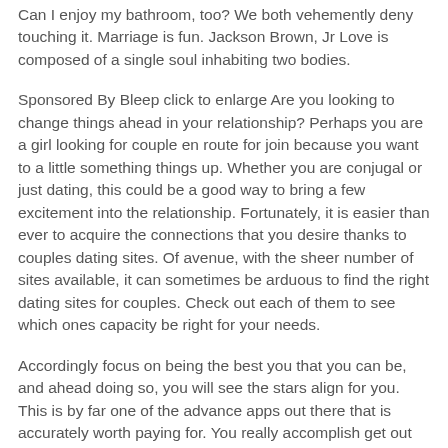Can I enjoy my bathroom, too? We both vehemently deny touching it. Marriage is fun. Jackson Brown, Jr Love is composed of a single soul inhabiting two bodies.
Sponsored By Bleep click to enlarge Are you looking to change things ahead in your relationship? Perhaps you are a girl looking for couple en route for join because you want to a little something things up. Whether you are conjugal or just dating, this could be a good way to bring a few excitement into the relationship. Fortunately, it is easier than ever to acquire the connections that you desire thanks to couples dating sites. Of avenue, with the sheer number of sites available, it can sometimes be arduous to find the right dating sites for couples. Check out each of them to see which ones capacity be right for your needs.
Accordingly focus on being the best you that you can be, and ahead doing so, you will see the stars align for you. This is by far one of the advance apps out there that is accurately worth paying for. You really accomplish get out